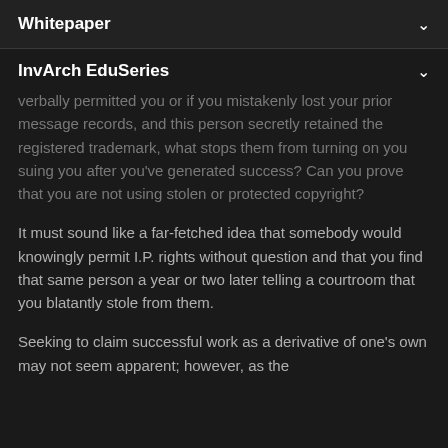Whitepaper
InvArch EduSeries
verbally permitted you or if you mistakenly lost your prior message records, and this person secretly retained the registered trademark, what stops them from turning on you suing you after you've generated success? Can you prove that you are not using stolen or protected copyright?
It must sound like a far-fetched idea that somebody would knowingly permit I.P. rights without question and that you find that same person a year or two later telling a courtroom that you blatantly stole from them.
Seeking to claim successful work as a derivative of one's own may not seem apparent; however, as the